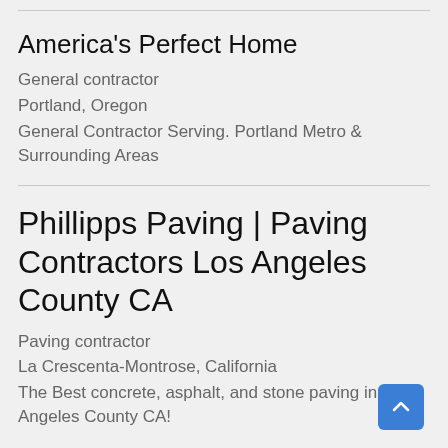America's Perfect Home
General contractor
Portland, Oregon
General Contractor Serving. Portland Metro & Surrounding Areas
Phillipps Paving | Paving Contractors Los Angeles County CA
Paving contractor
La Crescenta-Montrose, California
The Best concrete, asphalt, and stone paving in Los Angeles County CA!